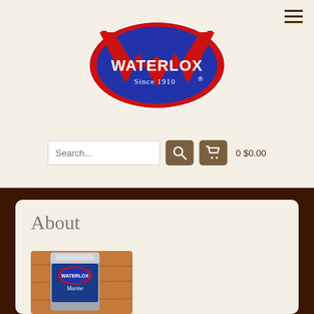[Figure (logo): Waterlox logo: oval shape with red border, blue background, large W shape in red/dark, white text 'WATERLOX' and 'Since 1910' with registered trademark symbol]
[Figure (other): Search bar with placeholder text 'Search...', a brown search button with magnifying glass icon, a brown cart button with shopping cart icon, and text '0 $0.00']
About
[Figure (photo): A blue Waterlox Marine product can sitting on a warm wooden surface]